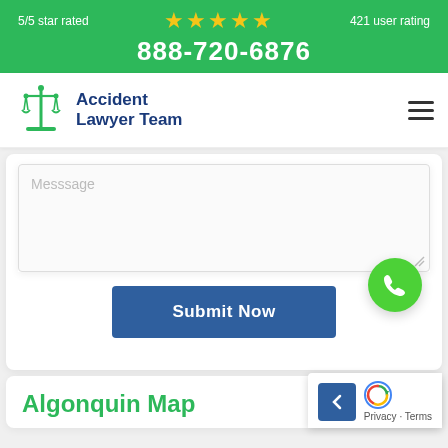5/5 star rated ★★★★★ 421 user rating
888-720-6876
[Figure (logo): Accident Lawyer Team logo with scales of justice icon and blue text]
Messsage
Submit Now
[Figure (illustration): Green circular phone/call button (floating action button)]
Algonquin Map
Privacy · Terms